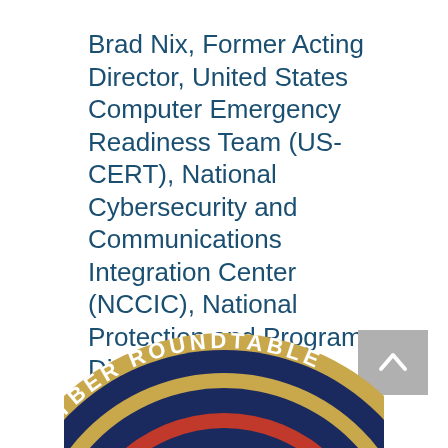Brad Nix, Former Acting Director, United States Computer Emergency Readiness Team (US-CERT), National Cybersecurity and Communications Integration Center (NCCIC), National Protection and Programs Directorate (NPPD), Department of Homeland Security (DHS)
[Figure (logo): Partial view of a circular seal/logo reading 'GTON CYBER ROU...' (Washington Cyber Roundtable or similar) with dark blue, gold, and red colors]